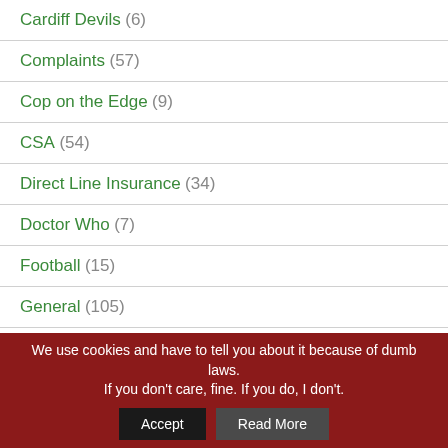Cardiff Devils (6)
Complaints (57)
Cop on the Edge (9)
CSA (54)
Direct Line Insurance (34)
Doctor Who (7)
Football (15)
General (105)
Google (84)
Guest Posts (5)
We use cookies and have to tell you about it because of dumb laws. If you don't care, fine. If you do, I don't.